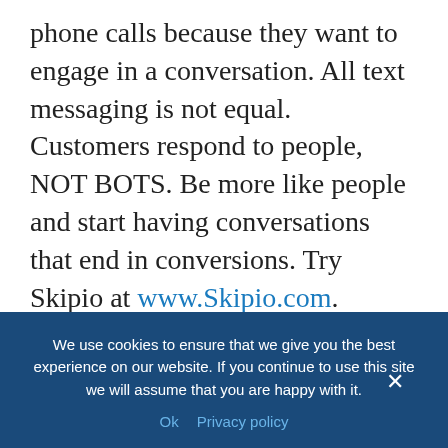phone calls because they want to engage in a conversation. All text messaging is not equal. Customers respond to people, NOT BOTS. Be more like people and start having conversations that end in conversions. Try Skipio at www.Skipio.com.
This episode is brought to you in part by NetHunt CRM.
NetHunt CRM is a sales automation tool
We use cookies to ensure that we give you the best experience on our website. If you continue to use this site we will assume that you are happy with it.